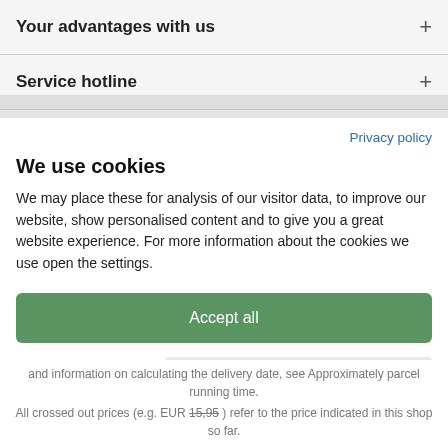Your advantages with us
Service hotline
We use cookies
We may place these for analysis of our visitor data, to improve our website, show personalised content and to give you a great website experience. For more information about the cookies we use open the settings.
Accept all
Deny
No, adjust
and information on calculating the delivery date, see Approximately parcel running time.
All crossed out prices (e.g. EUR 15,95 ) refer to the price indicated in this shop so far.